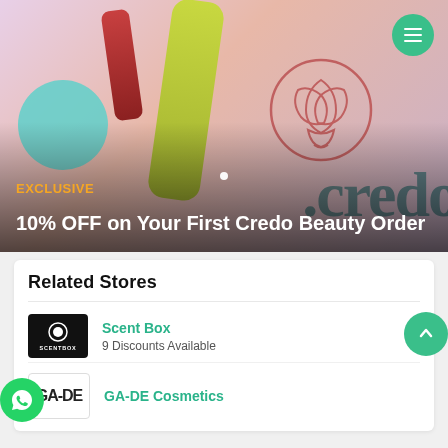[Figure (photo): Hero banner showing beauty/hair care products (teal jar, red bottle, yellow-green tube) on a pink/peach background with a credo flower logo outline and .credo watermark text]
EXCLUSIVE
10% OFF on Your First Credo Beauty Order
Related Stores
Scent Box
9 Discounts Available
GA-DE Cosmetics